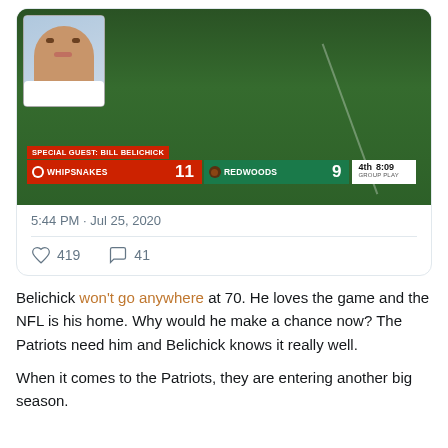[Figure (screenshot): Screenshot of a tweet showing a lacrosse TV broadcast scoreboard with Bill Belichick as special guest. WHIPSNAKES 11 vs REDWOODS 9, 4th quarter 8:09 GROUP PLAY. A video call thumbnail of Belichick appears top-left.]
5:44 PM · Jul 25, 2020
419 likes  41 comments
Belichick won't go anywhere at 70. He loves the game and the NFL is his home. Why would he make a chance now? The Patriots need him and Belichick knows it really well.
When it comes to the Patriots, they are entering another big season.